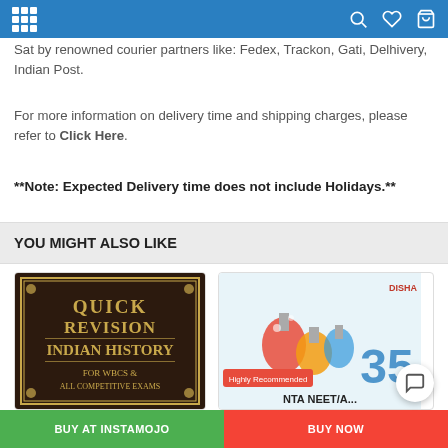Navigation bar with grid icon, search, wishlist, and cart icons
Sat by renowned courier partners like: Fedex, Trackon, Gati, Delhivery, Indian Post.
For more information on delivery time and shipping charges, please refer to Click Here.
**Note: Expected Delivery time does not include Holidays.**
YOU MIGHT ALSO LIKE
[Figure (photo): Book cover: Quick Revision Indian History for WBCS & All Competitive Exams]
[Figure (photo): Book cover: DISHA NTA NEET 35 years, Highly Recommended label]
BUY AT INSTAMOJO   BUY NOW